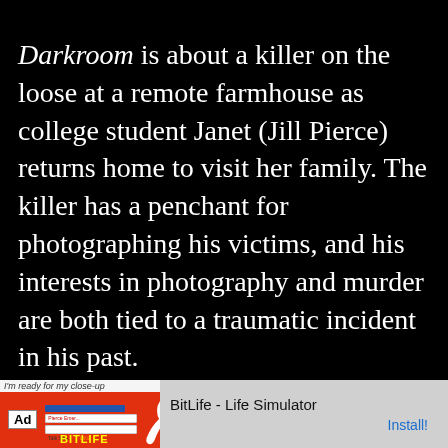Darkroom is about a killer on the loose at a remote farmhouse as college student Janet (Jill Pierce) returns home to visit her family. The killer has a penchant for photographing his victims, and his interests in photography and murder are both tied to a traumatic incident in his past.
[Figure (screenshot): Advertisement banner for BitLife - Life Simulator app. Shows an Ad badge, a red banner with app screenshots and a sperm logo with BITLIFE text in yellow, and the text 'BitLife - Life Simulator' with an 'Install!' link in blue.]